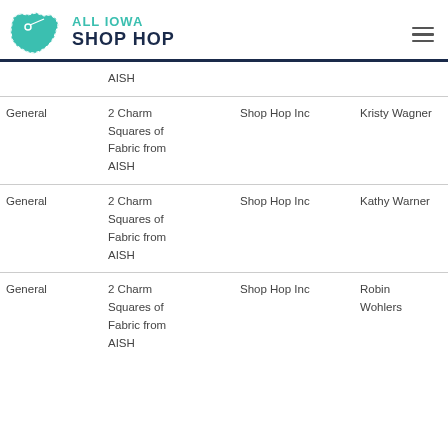ALL IOWA SHOP HOP
|  | AISH |  |  |
| General | 2 Charm Squares of Fabric from AISH | Shop Hop Inc | Kristy Wagner |
| General | 2 Charm Squares of Fabric from AISH | Shop Hop Inc | Kathy Warner |
| General | 2 Charm Squares of Fabric from AISH | Shop Hop Inc | Robin Wohlers |